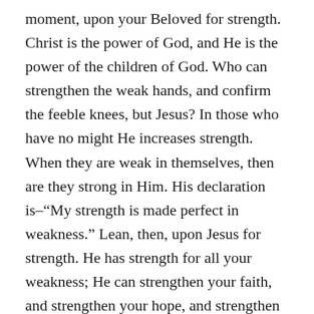moment, upon your Beloved for strength. Christ is the power of God, and He is the power of the children of God. Who can strengthen the weak hands, and confirm the feeble knees, but Jesus? In those who have no might He increases strength. When they are weak in themselves, then are they strong in Him. His declaration is–“My strength is made perfect in weakness.” Lean, then, upon Jesus for strength. He has strength for all your weakness; He can strengthen your faith, and strengthen your hope, and strengthen your courage, and strengthen your patience, and strengthen your heart, for every burden, for every trial, and for every temptation. Lean upon Him; He loves to feel the pressure of your